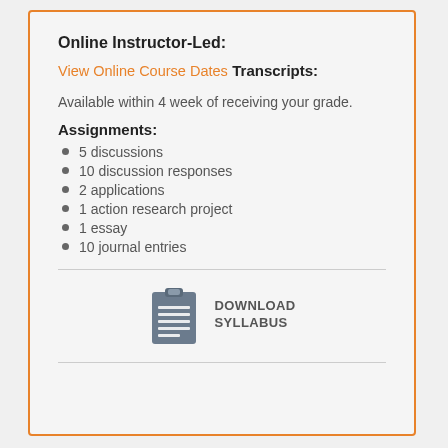Online Instructor-Led:
View Online Course Dates
Transcripts:
Available within 4 week of receiving your grade.
Assignments:
5 discussions
10 discussion responses
2 applications
1 action research project
1 essay
10 journal entries
[Figure (illustration): Clipboard icon with lines representing a syllabus document]
DOWNLOAD SYLLABUS